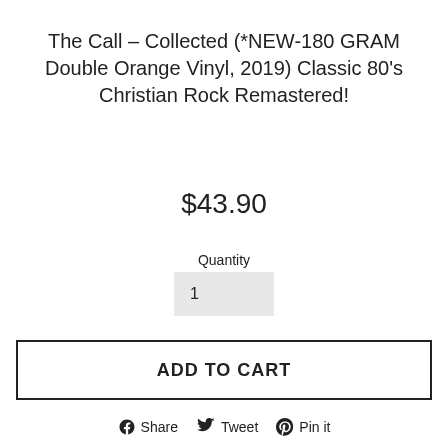The Call – Collected (*NEW-180 GRAM Double Orange Vinyl, 2019) Classic 80's Christian Rock Remastered!
$43.90
Quantity
1
ADD TO CART
Share  Tweet  Pin it